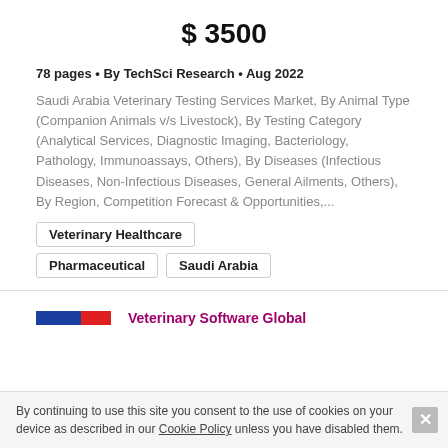$ 3500
78 pages • By TechSci Research • Aug 2022
Saudi Arabia Veterinary Testing Services Market, By Animal Type (Companion Animals v/s Livestock), By Testing Category (Analytical Services, Diagnostic Imaging, Bacteriology, Pathology, Immunoassays, Others), By Diseases (Infectious Diseases, Non-Infectious Diseases, General Ailments, Others), By Region, Competition Forecast & Opportunities,...
Veterinary Healthcare
Pharmaceutical
Saudi Arabia
Veterinary Software Global
By continuing to use this site you consent to the use of cookies on your device as described in our Cookie Policy unless you have disabled them.